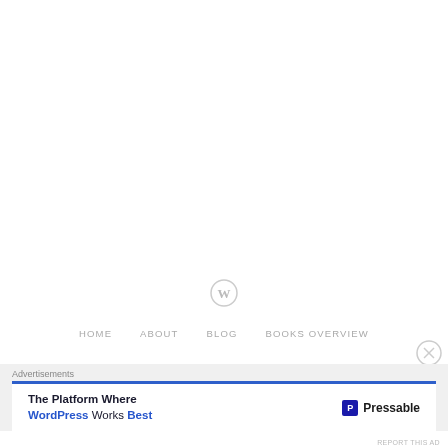[Figure (logo): WordPress circular logo icon in light gray, centered on page]
HOME   ABOUT   BLOG   BOOKS OVERVIEW
Advertisements
[Figure (screenshot): Advertisement banner: 'The Platform Where WordPress Works Best' with Pressable logo on the right]
REPORT THIS AD